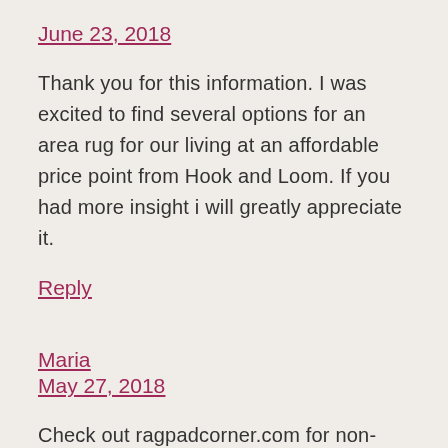June 23, 2018
Thank you for this information. I was excited to find several options for an area rug for our living at an affordable price point from Hook and Loom. If you had more insight i will greatly appreciate it.
Reply
Maria
May 27, 2018
Check out ragpadcorner.com for non-toxic, chemical free rug pads.